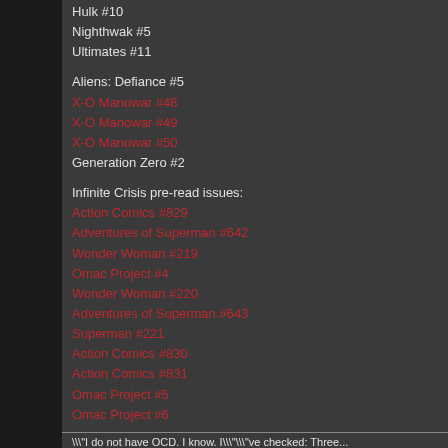Hulk #10
Nighthwak #5
Ultimates #11
Aliens: Defiance #5
X-O Manowar #48
X-O Manowar #49
X-O Manowar #50
Generation Zero #2
Infinite Crisis pre-read issues:
Action Comics #829
Adventures of Superman #642
Wonder Woman #219
Omac Project #4
Wonder Woman #220
Adventures of Superman #643
Superman #221
Action Comics #830
Action Comics #831
Omac Project #5
Omac Project #6
\"I do not have OCD. I know. I\"\"ve checked: Three...